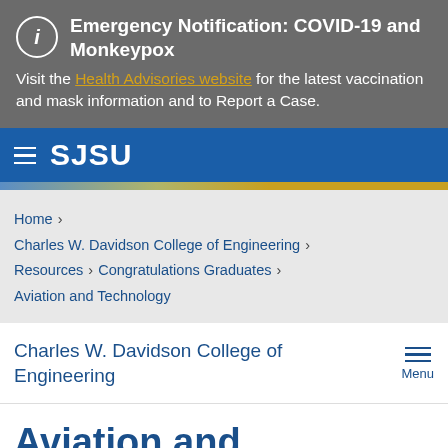Emergency Notification: COVID-19 and Monkeypox
Visit the Health Advisories website for the latest vaccination and mask information and to Report a Case.
SJSU
Home > Charles W. Davidson College of Engineering > Resources > Congratulations Graduates > Aviation and Technology
Charles W. Davidson College of Engineering
Aviation and